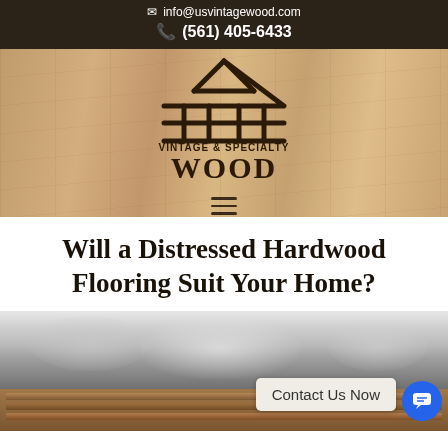info@usvintagewood.com  (561) 405-6433
[Figure (logo): Vintage & Specialty Wood logo on wood grain background with hamburger menu icon]
Will a Distressed Hardwood Flooring Suit Your Home?
[Figure (photo): Black and white photo of draped/crumpled fabric on distressed wood floor with Contact Us Now button and chat widget]